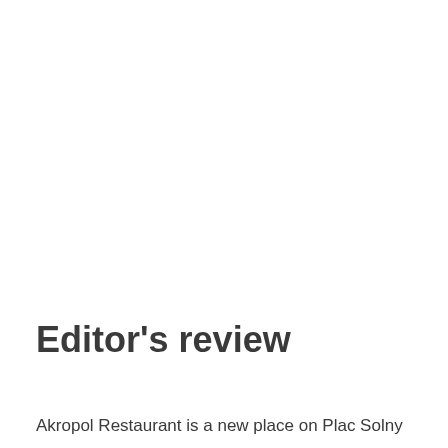Editor's review
Akropol Restaurant is a new place on Plac Solny